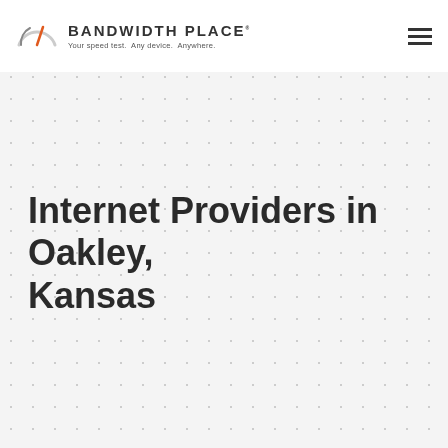[Figure (logo): Bandwidth Place logo with speedometer icon and tagline 'Your speed test. Any device. Anywhere.']
Internet Providers in Oakley, Kansas